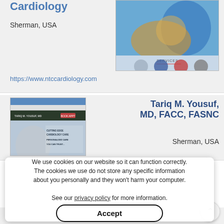Cardiology
Sherman, USA
[Figure (screenshot): Screenshot of NTC Cardiology website showing a medical/cardiology themed website with services section]
https://www.ntccardiology.com
[Figure (screenshot): Screenshot of Tariq M. Yousuf MD website showing a doctor in a clinic with text 'CUTTING EDGE CARDIOLOGY CARE PERSONALIZED CARE YOU CAN TRUST']
Tariq M. Yousuf, MD, FACC, FASNC
Sherman, USA
We use cookies on our website so it can function correctly. The cookies we use do not store any specific information about you personally and they won't harm your computer. See our privacy policy for more information.
Accept
Professional
https://www.tariqyousufmd.com